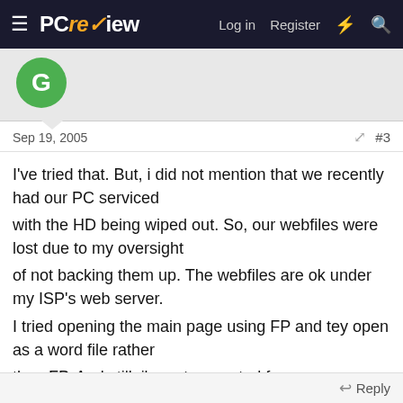≡ PCreview  Log in  Register  ⚡ 🔍
[Figure (illustration): Green circular avatar with letter G, on grey background with triangular post pointer]
Sep 19, 2005   #3
I've tried that. But, i did not mention that we recently had our PC serviced
with the HD being wiped out. So, our webfiles were lost due to my oversight
of not backing them up. The webfiles are ok under my ISP's web server.
I tried opening the main page using FP and tey open as a word file rather
than FP. And still, i'm not prompted for a username/password.

Any ideas?

Thanks!